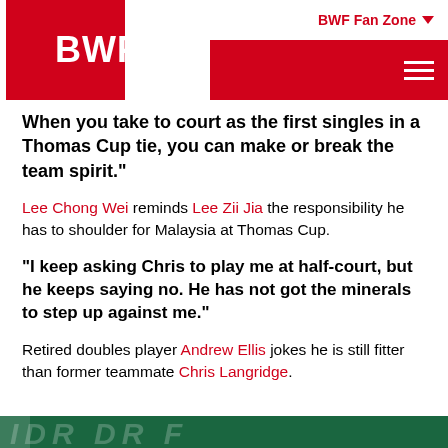BWF Fan Zone
When you take to court as the first singles in a Thomas Cup tie, you can make or break the team spirit."
Lee Chong Wei reminds Lee Zii Jia the responsibility he has to shoulder for Malaysia at Thomas Cup.
“I keep asking Chris to play me at half-court, but he keeps saying no. He has not got the minerals to step up against me.”
Retired doubles player Andrew Ellis jokes he is still fitter than former teammate Chris Langridge.
[Figure (photo): Bottom strip showing a dark green badminton court with player silhouettes and partial text overlay]